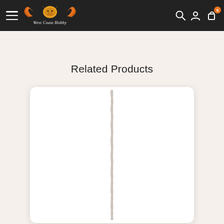West Coast Hobby — navigation bar with hamburger menu, logo, search, account, and cart (0) icons
Related Products
[Figure (photo): White product card with a twisted white/light-colored rope or cord photographed vertically against a white background]